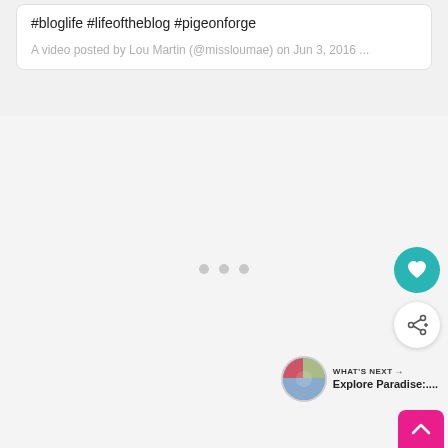#bloglife #lifeoftheblog #pigeonforge
A video posted by Lou Martin (@missloumae) on Jun 3, 2016 ...
[Figure (screenshot): Loading video area with three grey dots indicating content loading, teal heart button, white share button with plus icon, and a 'What's Next' panel showing 'Explore Paradise:...' with thumbnail]
WHAT'S NEXT → Explore Paradise:....